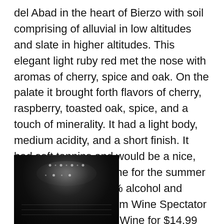del Abad in the heart of Bierzo with soil comprising of alluvial in low altitudes and slate in higher altitudes. This elegant light ruby red met the nose with aromas of cherry, spice and oak. On the palate it brought forth flavors of cherry, raspberry, toasted oak, spice, and a touch of minerality. It had a light body, medium acidity, and a short finish. It had soft tannins and would be a nice, elegant weeknight wine for the summer time. It contained 13% alcohol and received 91 points from Wine Spectator and was sold at Total Wine for $14.99
[Figure (photo): Close-up photo of a dark wine bottle, very dark near-black in color with reflective highlights and light dots visible on the glass surface]